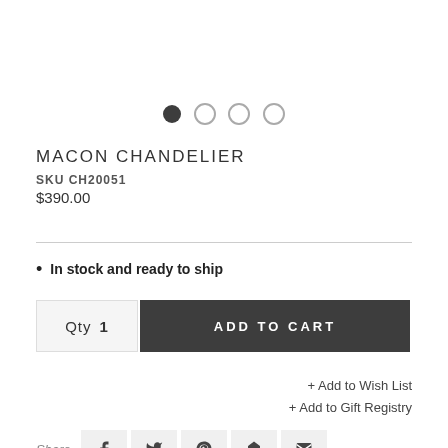[Figure (other): Carousel navigation dots: one filled dark circle and three empty circles indicating image slideshow position]
MACON CHANDELIER
SKU CH20051
$390.00
In stock and ready to ship
Qty  1   ADD TO CART
+ Add to Wish List
+ Add to Gift Registry
Share